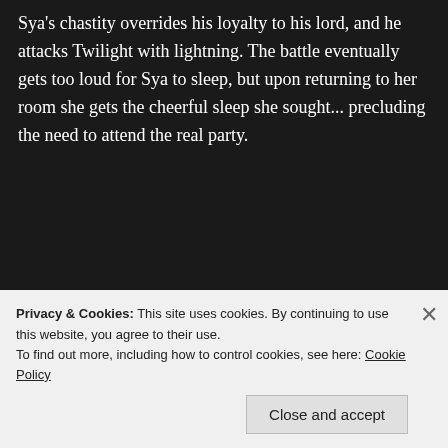Sya's chastity overrides his loyalty to his lord, and he attacks Twilight with lightning. The battle eventually gets too loud for Sya to sleep, but upon returning to her room she gets the cheerful sleep she sought... precluding the need to attend the real party.
[Figure (photo): Four anime screenshots arranged in a 2x2 grid. Top-left: a purple-haired anime girl with yellow eyes and bat accessories in a dark setting. Top-right: two anime girls, one with white hair and a tiara, one with dark hair and flowers, in a pink dreamy setting. Bottom-left: a dark scene with glowing green light and what appears to be a white figure. Bottom-right: an orange/fire-toned scene.]
Privacy & Cookies: This site uses cookies. By continuing to use this website, you agree to their use.
To find out more, including how to control cookies, see here: Cookie Policy